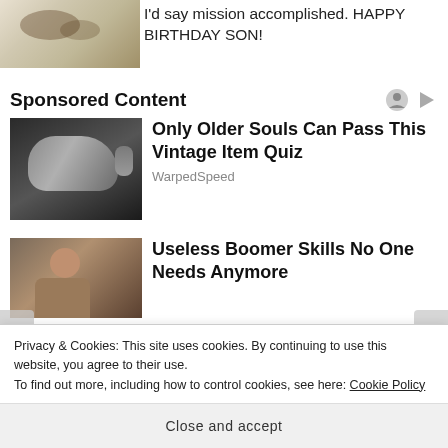[Figure (photo): Top portion of a speckled/dirty surface photo, partially visible at top of page]
I'd say mission accomplished. HAPPY BIRTHDAY SON!
Sponsored Content
[Figure (photo): Advertisement image showing a vintage car seat handle or door handle, dark gray metallic object]
Only Older Souls Can Pass This Vintage Item Quiz
WarpedSpeed
[Figure (photo): Advertisement image showing an older man, partially visible]
Useless Boomer Skills No One Needs Anymore
Privacy & Cookies: This site uses cookies. By continuing to use this website, you agree to their use.
To find out more, including how to control cookies, see here: Cookie Policy
Close and accept